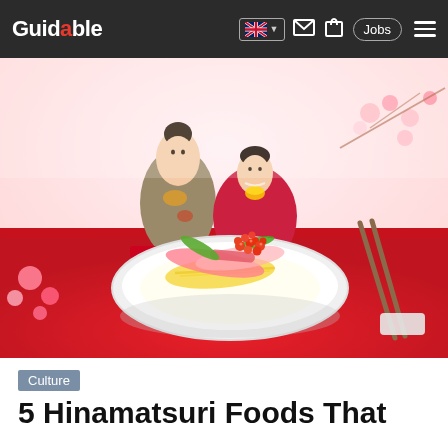Guidable | Culture | 5 Hinamatsuri Foods That...
[Figure (photo): A decorative Japanese Hinamatsuri (Doll Festival) dish of chirashi sushi topped with salmon roe, crab sticks, egg strands, snap peas and pickled vegetables, served on a white plate. In the background are traditional Japanese hina dolls in kimono (Emperor and Empress figures) and pink plum blossoms, on a red table surface. Chopsticks are visible to the right.]
Culture
5 Hinamatsuri Foods That